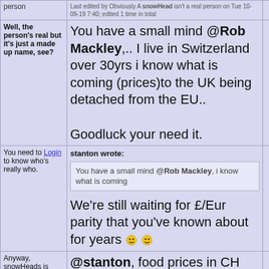| User info | Post content | Actions |
| --- | --- | --- |
| person | Last edited by Obviously A snowHead isn't a real person on Tue 10-09-19 7:40; edited 1 time in total |  |
| Well, the person's real but it's just a made up name, see? | You have a small mind @Rob Mackley,.. I live in Switzerland over 30yrs i know what is coming (prices)to the UK being detached from the EU..

Goodluck your need it. |  |
| You need to Login to know who's really who. | stanton wrote:
You have a small mind @Rob Mackley, i know what is coming

We're still waiting for £/Eur parity that you've known about for years 😊 😊 |  |
| Anyway, snowHeads is much more fun if you do. | @stanton, food prices in CH are artificially high to protect local farmers. 30 years and you haven't realised. Porky Pies me thinks |  |
| You'll need to Register first of course. | @martinm, No Deal will bring Pariity and more likey below.. |  |